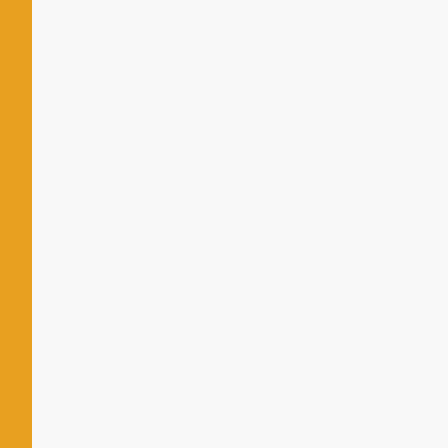| No. | Date | Title |
| --- | --- | --- |
| 553. | 24/05/2017 | Addition in d... Disability)-2n... |
| 554. | 23/05/2017 | Answer Key... |
| 555. | 23/05/2017 | Question Bo... |
| 556. | 22/05/2017 | ADDITIONS/... (MBA)-2ND,... |
| 557. | 22/05/2017 | change in ti... 8th Sem |
| 558. | 19/05/2017 | Change of C... (MR)-2nd Se... |
| 559. | 19/05/2017 | CHANGE in... Integrated C... (Regular/Re... |
| 560. | 16/05/2017 | CHANGE in... Vocational.(B... Design)-4TH... |
| 561. | 15/05/2017 | Golden Cha... COM./M.P.E... -2017) |
| 562. | 12/05/2017 | CHANGE in... (Regular/Re... |